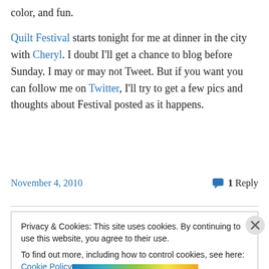color, and fun.

Quilt Festival starts tonight for me at dinner in the city with Cheryl. I doubt I'll get a chance to blog before Sunday. I may or may not Tweet. But if you want you can follow me on Twitter, I'll try to get a few pics and thoughts about Festival posted as it happens.
November 4, 2010   1 Reply
Privacy & Cookies: This site uses cookies. By continuing to use this website, you agree to their use. To find out more, including how to control cookies, see here: Cookie Policy
Close and accept